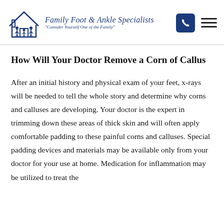Family Foot & Ankle Specialists — Consider Yourself One of the Family
How Will Your Doctor Remove a Corn of Callus
After an initial history and physical exam of your feet, x-rays will be needed to tell the whole story and determine why corns and calluses are developing. Your doctor is the expert in trimming down these areas of thick skin and will often apply comfortable padding to these painful corns and calluses. Special padding devices and materials may be available only from your doctor for your use at home. Medication for inflammation may be utilized to treat the